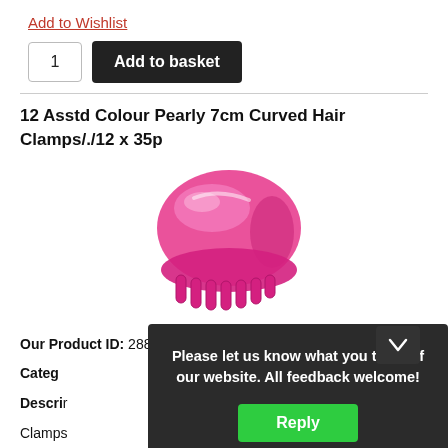Add to Wishlist
1   Add to basket
12 Asstd Colour Pearly 7cm Curved Hair Clamps/./12 x 35p
[Figure (photo): Pink pearly curved hair clamp/claw clip, viewed from the side showing the teeth and glossy surface.]
Our Product ID: 288892
Category:
Description:
Clamps
Price (
Please let us know what you think of our website. All feedback welcome!
Reply